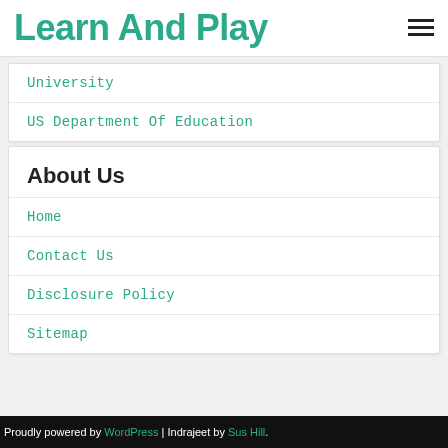Learn And Play
University
US Department Of Education
About Us
Home
Contact Us
Disclosure Policy
Sitemap
Proudly powered by WordPress | Indrajeet by Sus Hill.